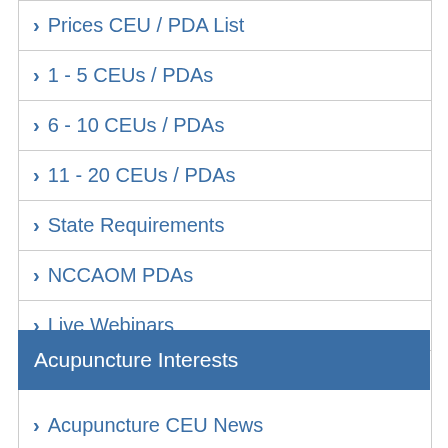Prices CEU / PDA List
1 - 5 CEUs / PDAs
6 - 10 CEUs / PDAs
11 - 20 CEUs / PDAs
State Requirements
NCCAOM PDAs
Live Webinars
Dietetics Courses
Acupuncture Interests
Acupuncture CEU News